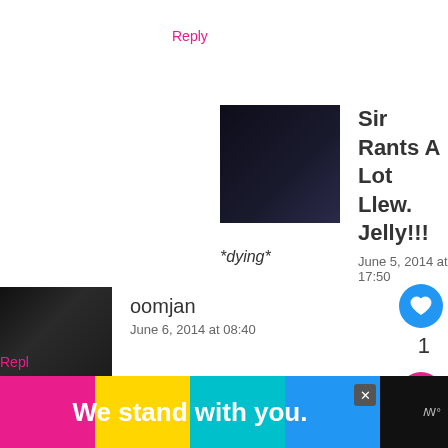Reply
Sir Rants A Lot Llew. Jelly!!!
June 5, 2014 at 17:50
*dying*
oomjan
June 6, 2014 at 08:40
Funny thing is they have partnership but it still runs like dog poo on N and AMD. LOL. Nvidia gameworks sucks cause if it worke then Watch dogs would have run fine for most people an
[Figure (screenshot): WHAT'S NEXT arrow with Batman: Arkham... text and thumbnail image]
[Figure (infographic): Advertisement banner reading 'We stand with you.' in white bold text over colored blocks (pink, yellow, teal, blue) on black background]